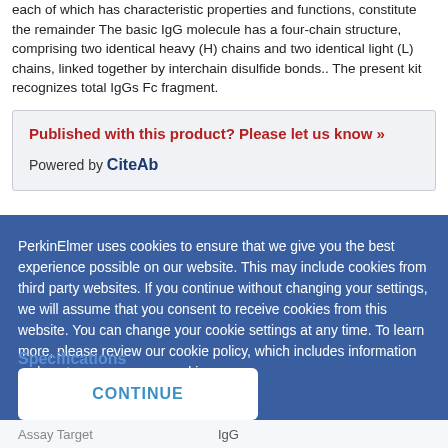each of which has characteristic properties and functions, constitute the remainder The basic IgG molecule has a four-chain structure, comprising two identical heavy (H) chains and two identical light (L) chains, linked together by interchain disulfide bonds.. The present kit recognizes total IgGs Fc fragment.
Published with this product? Please let us know »
Powered by CiteAb
PerkinElmer uses cookies to ensure that we give you the best experience possible on our website. This may include cookies from third party websites. If you continue without changing your settings, we will assume that you consent to receive cookies from this website. You can change your cookie settings at any time. To learn more, please review our cookie policy, which includes information on how to manage your cookies.
Specifications
CONTINUE
| Assay Target | IgG |
| --- | --- |